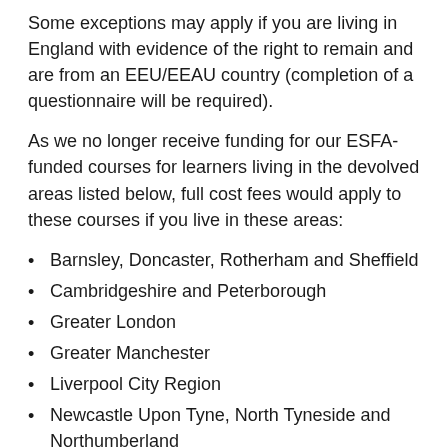Some exceptions may apply if you are living in England with evidence of the right to remain and are from an EEU/EEAU country (completion of a questionnaire will be required).
As we no longer receive funding for our ESFA-funded courses for learners living in the devolved areas listed below, full cost fees would apply to these courses if you live in these areas:
Barnsley, Doncaster, Rotherham and Sheffield
Cambridgeshire and Peterborough
Greater London
Greater Manchester
Liverpool City Region
Newcastle Upon Tyne, North Tyneside and Northumberland
Tees Valley
West of England